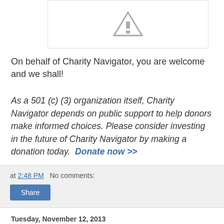[Figure (illustration): Broken/missing image placeholder showing a gray triangle with an exclamation-like icon, inside a white box with border]
On behalf of Charity Navigator, you are welcome and we shall!
As a 501 (c) (3) organization itself, Charity Navigator depends on public support to help donors make informed choices. Please consider investing in the future of Charity Navigator by making a donation today.  Donate now >>
at 2:48 PM   No comments:
Share
Tuesday, November 12, 2013
Super Typhoon Haiyan Disaster Relief